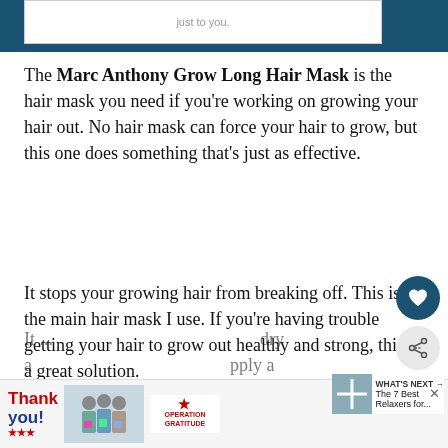[Figure (screenshot): Top portion of a white card/box partially visible behind dark teal header bar, with faint text 'just to you.']
The Marc Anthony Grow Long Hair Mask is the hair mask you need if you're working on growing your hair out. No hair mask can force your hair to grow, but this one does something that's just as effective.
It stops your growing hair from breaking off. This is the main hair mask I use. If you're having trouble getting your hair to grow out healthy and strong, this is a great solution.
[Figure (screenshot): Advertisement banner: Operation Gratitude 'Thank You' ad with image of people in masks holding packages]
It ... dry a ... pply a ...